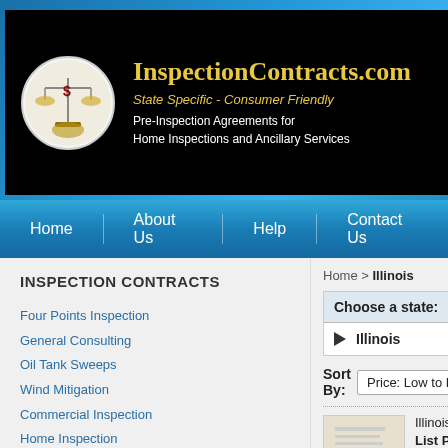[Figure (logo): InspectionContracts.com website screenshot with logo, navigation bar, left sidebar with inspection contract categories, and product listing for Illinois]
InspectionContracts.com
State Specific - Consumer Friendly
Pre-Inspection Agreements for Home Inspections and Ancillary Services
Home
About Us
Help
Contact Us
INSPECTION CONTRACTS
Four Points Inspection
General Consulting
Oil Tank Sweeps
Wind Mitigation
Commercial Inspection
Home Inspection
Mold Assessment/Sampling
New Construction/Predrywall
Pools/Spas
Radon Testing
Home > Illinois
Choose a state:
Illinois
Sort By: Price: Low to High
Illinois Home Inspection
List Price: $200.00
Price: $200.00
Add to cart